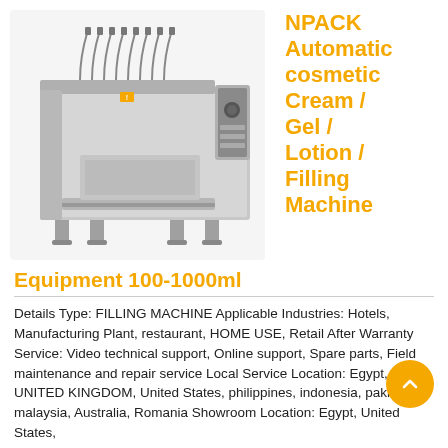[Figure (photo): NPACK Automatic cosmetic Cream/Gel/Lotion/Filling Machine - industrial stainless steel filling machine with multiple nozzles]
NPACK Automatic cosmetic Cream / Gel / Lotion / Filling Machine
Equipment 100-1000ml
Details Type: FILLING MACHINE Applicable Industries: Hotels, Manufacturing Plant, restaurant, HOME USE, Retail After Warranty Service: Video technical support, Online support, Spare parts, Field maintenance and repair service Local Service Location: Egypt, UNITED KINGDOM, United States, philippines, indonesia, pakistan, malaysia, Australia, Romania Showroom Location: Egypt, United States,